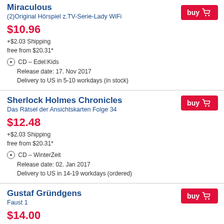Miraculous — (2)Original Hörspiel z.TV-Serie-Lady WiFi
$10.96 +$2.03 Shipping free from $20.31*
CD – Edel:Kids
Release date: 17. Nov 2017
Delivery to US in 5-10 workdays (in stock)
Sherlock Holmes Chronicles — Das Rätsel der Ansichtskarten Folge 34
$12.48 +$2.03 Shipping free from $20.31*
CD – WinterZeit
Release date: 02. Jan 2017
Delivery to US in 14-19 workdays (ordered)
Gustaf Gründgens — Faust 1
$14.00 +$2.03 Shipping free from $20.31*
CD – Deutsche Grammophon